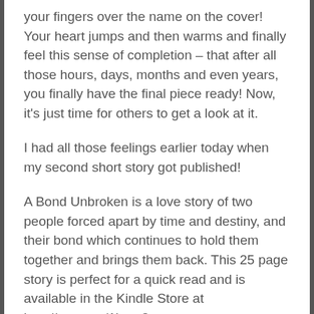your fingers over the name on the cover! Your heart jumps and then warms and finally feel this sense of completion – that after all those hours, days, months and even years, you finally have the final piece ready! Now, it's just time for others to get a look at it.
I had all those feelings earlier today when my second short story got published!
A Bond Unbroken is a love story of two people forced apart by time and destiny, and their bond which continues to hold them together and brings them back. This 25 page story is perfect for a quick read and is available in the Kindle Store at http://amzn.to/1isws3s.
When I saw it up there, available for purchase, I felt